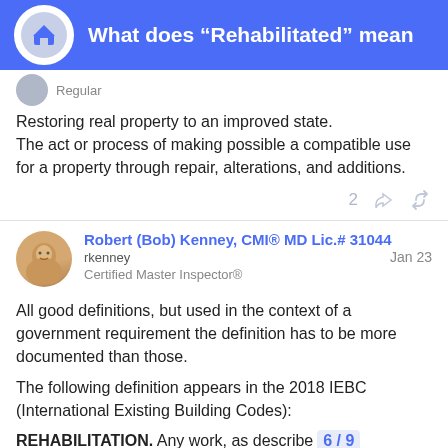What does “Rehabilitated” mean
Restoring real property to an improved state.
The act or process of making possible a compatible use for a property through repair, alterations, and additions.
Robert (Bob) Kenney, CMI® MD Lic.# 31044
rkenney
Certified Master Inspector®
Jan 23
All good definitions, but used in the context of a government requirement the definition has to be more documented than those.
The following definition appears in the 2018 IEBC (International Existing Building Codes):
REHABILITATION. Any work, as described of work defined herein, undertaken in an e
6 / 9